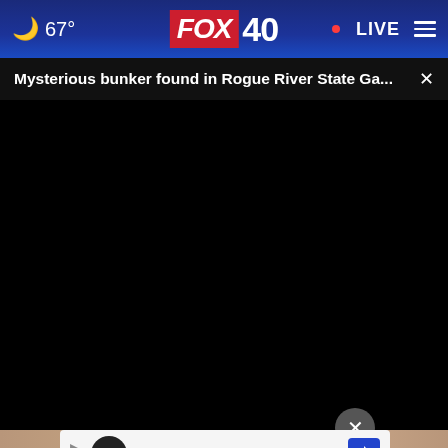[Figure (screenshot): FOX 40 news website screenshot showing header navigation bar with moon/weather icon showing 67°, FOX 40 logo, LIVE indicator, and hamburger menu]
Mysterious bunker found in Rogue River State Ga...
[Figure (screenshot): Black video player with progress bar at start (00:00), play button, mute button, timestamp 00:00, captions icon, and fullscreen icon]
[Figure (photo): Partial article thumbnail showing golden/brown metallic texture, with close button overlay and advertisement banner showing In-store shopping]
Wra... ne,
Here's why